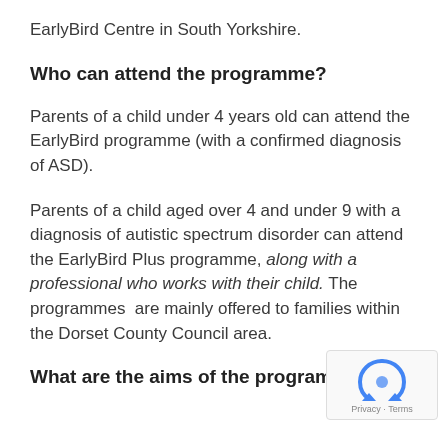EarlyBird Centre in South Yorkshire.
Who can attend the programme?
Parents of a child under 4 years old can attend the EarlyBird programme (with a confirmed diagnosis of ASD).
Parents of a child aged over 4 and under 9 with a diagnosis of autistic spectrum disorder can attend the EarlyBird Plus programme, along with a professional who works with their child. The programmes  are mainly offered to families within the Dorset County Council area.
What are the aims of the programme?
[Figure (logo): reCAPTCHA badge with Privacy and Terms text]